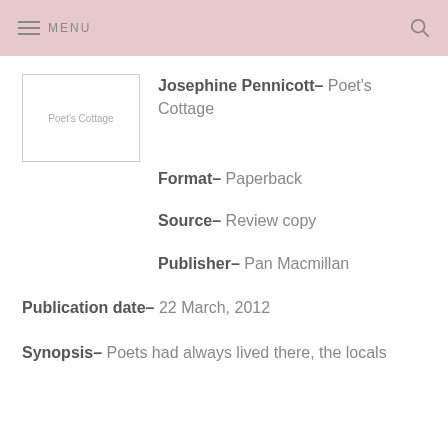MENU
[Figure (illustration): Book cover placeholder image for Poet's Cottage]
Josephine Pennicott- Poet's Cottage
Format- Paperback
Source- Review copy
Publisher- Pan Macmillan
Publication date- 22 March, 2012
Synopsis- Poets had always lived there, the locals